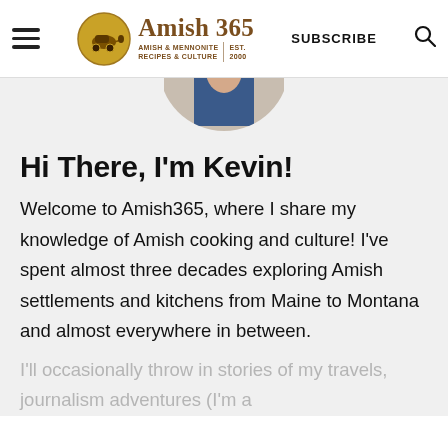Amish 365 — AMISH & MENNONITE RECIPES & CULTURE | EST. 2000 | SUBSCRIBE
[Figure (photo): Circular cropped photo of Kevin, a man in a blue shirt, partially visible from the chest up, with an outdoor background. Only the bottom portion of the circle is visible.]
Hi There, I'm Kevin!
Welcome to Amish365, where I share my knowledge of Amish cooking and culture! I've spent almost three decades exploring Amish settlements and kitchens from Maine to Montana and almost everywhere in between.
I'll occasionally throw in stories of my travels, journalism adventures (I'm a